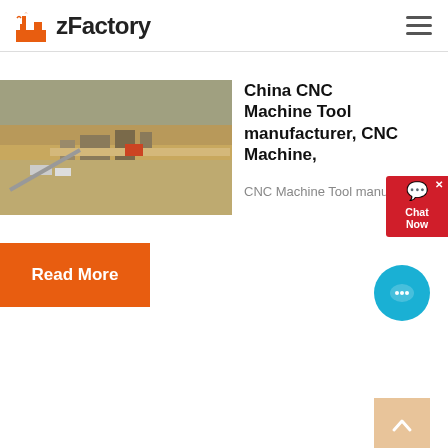zFactory
China CNC Machine Tool manufacturer, CNC Machine,
CNC Machine Tool manufacturer...
[Figure (photo): Aerial view of an industrial mining or construction site with heavy equipment and facilities in arid terrain]
Read More
<< Previous:Marble Grinding Raymond Mill With High Quality